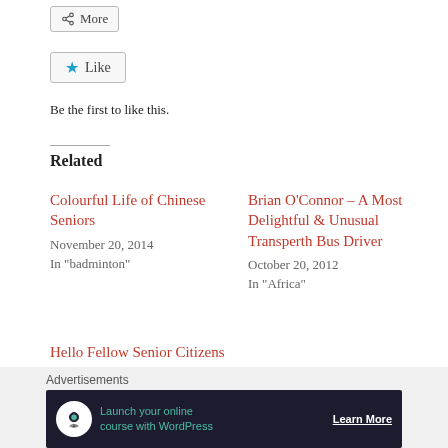[Figure (screenshot): More share button with share icon]
[Figure (screenshot): Like button with blue star icon]
Be the first to like this.
Related
Colourful Life of Chinese Seniors
November 20, 2014
In "badminton"
Brian O'Connor – A Most Delightful & Unusual Transperth Bus Driver
October 20, 2012
In "Africa"
Hello Fellow Senior Citizens
January 20, 2020
[Figure (screenshot): Advertisements banner: Launch your online course with WordPress – Learn More]